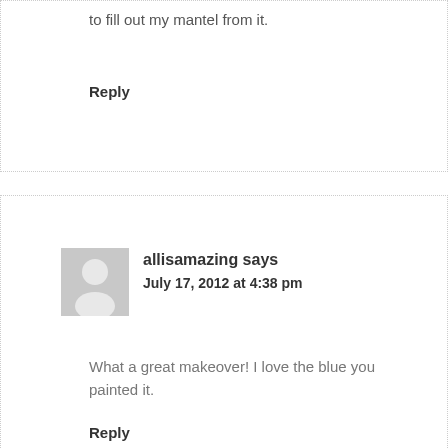to fill out my mantel from it.
Reply
[Figure (illustration): Default avatar placeholder image — grey silhouette of a person on light grey background]
allisamazing says
July 17, 2012 at 4:38 pm
What a great makeover! I love the blue you painted it.
Reply